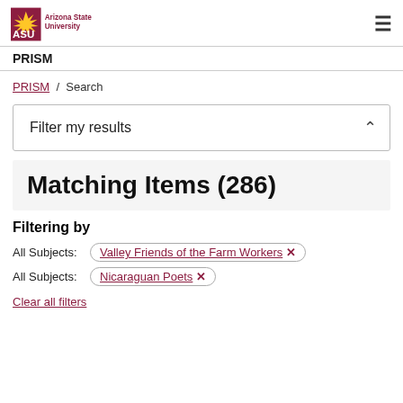ASU Arizona State University | PRISM
PRISM / Search
Filter my results
Matching Items (286)
Filtering by
All Subjects: Valley Friends of the Farm Workers ✕
All Subjects: Nicaraguan Poets ✕
Clear all filters